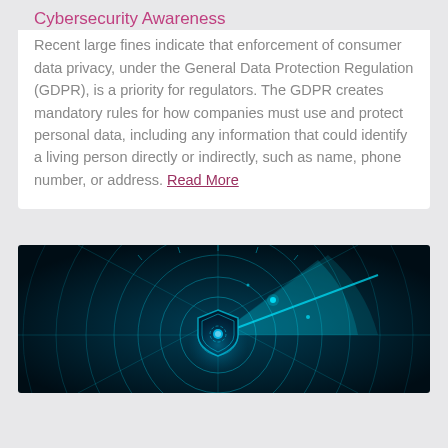Cybersecurity Awareness
Recent large fines indicate that enforcement of consumer data privacy, under the General Data Protection Regulation (GDPR), is a priority for regulators. The GDPR creates mandatory rules for how companies must use and protect personal data, including any information that could identify a living person directly or indirectly, such as name, phone number, or address. Read More
[Figure (photo): Dark cybersecurity radar interface with glowing blue concentric circles and a shield icon, suggesting digital security scanning concept.]